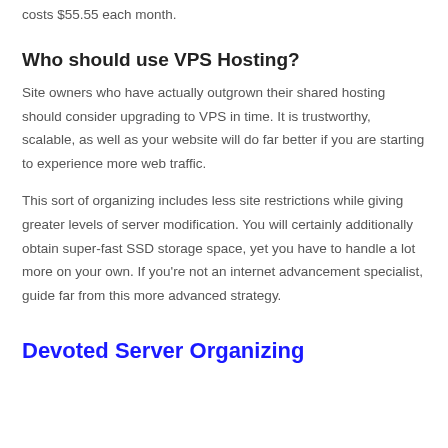costs $55.55 each month.
Who should use VPS Hosting?
Site owners who have actually outgrown their shared hosting should consider upgrading to VPS in time. It is trustworthy, scalable, as well as your website will do far better if you are starting to experience more web traffic.
This sort of organizing includes less site restrictions while giving greater levels of server modification. You will certainly additionally obtain super-fast SSD storage space, yet you have to handle a lot more on your own. If you're not an internet advancement specialist, guide far from this more advanced strategy.
Devoted Server Organizing